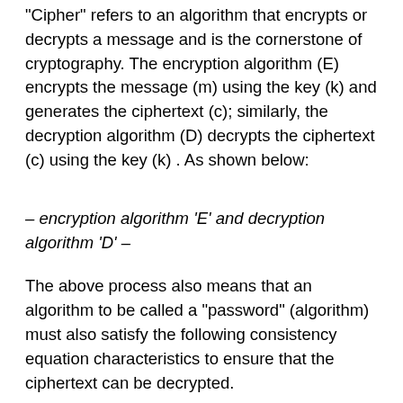"Cipher" refers to an algorithm that encrypts or decrypts a message and is the cornerstone of cryptography. The encryption algorithm (E) encrypts the message (m) using the key (k) and generates the ciphertext (c); similarly, the decryption algorithm (D) decrypts the ciphertext (c) using the key (k) . As shown below:
– encryption algorithm 'E' and decryption algorithm 'D' –
The above process also means that an algorithm to be called a "password" (algorithm) must also satisfy the following consistency equation characteristics to ensure that the ciphertext can be decrypted.
The expression indicates that if you use the key K to